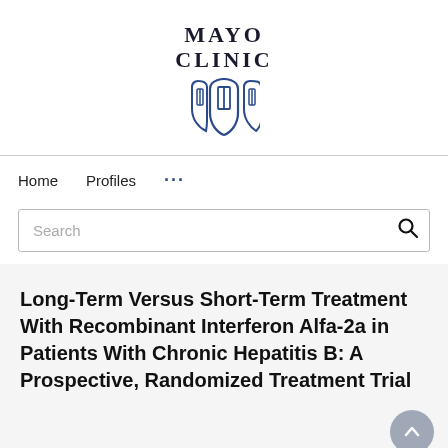[Figure (logo): Mayo Clinic logo with text 'MAYO CLINIC' and three shield emblems in navy blue]
Home   Profiles   ...
Search
Long-Term Versus Short-Term Treatment With Recombinant Interferon Alfa-2a in Patients With Chronic Hepatitis B: A Prospective, Randomized Treatment Trial